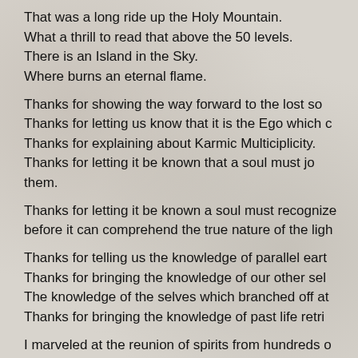That was a long ride up the Holy Mountain.
What a thrill to read that above the 50 levels.
There is an Island in the Sky.
Where burns an eternal flame.
Thanks for showing the way forward to the lost so
Thanks for letting us know that it is the Ego which c
Thanks for explaining about Karmic Multiciplicity.
Thanks for letting it be known that a soul must jo
them.
Thanks for letting it be known a soul must recognize
before it can comprehend the true nature of the ligh
Thanks for telling us the knowledge of parallel eart
Thanks for bringing the knowledge of our other sel
The knowledge of the selves which branched off at
Thanks for bringing the knowledge of past life retri
I marveled at the reunion of spirits from hundreds o